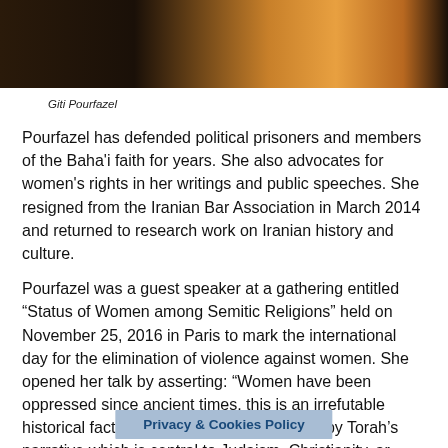[Figure (photo): A partial photo showing dark background with an orange and red decorative element, likely a scarf or painting]
Giti Pourfazel
Pourfazel has defended political prisoners and members of the Baha'i faith for years. She also advocates for women's rights in her writings and public speeches. She resigned from the Iranian Bar Association in March 2014 and returned to research work on Iranian history and culture.
Pourfazel was a guest speaker at a gathering entitled “Status of Women among Semitic Religions” held on November 25, 2016 in Paris to mark the international day for the elimination of violence against women. She opened her talk by asserting: “Women have been oppressed since ancient times, this is an irrefutable historical fact. The world has been shaped by Torah’s narrative which is central to Judaism, Christianity, an… be based on